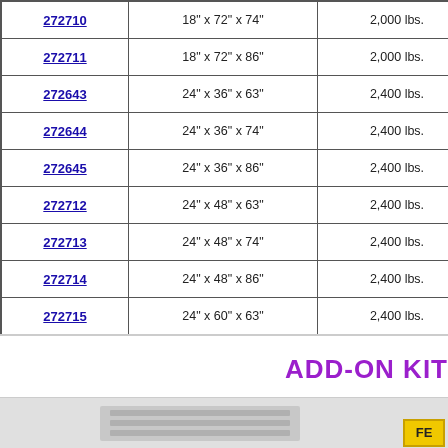| Model | Dimensions | Capacity |
| --- | --- | --- |
| 272710 | 18" x 72" x 74" | 2,000 lbs. |
| 272711 | 18" x 72" x 86" | 2,000 lbs. |
| 272643 | 24" x 36" x 63" | 2,400 lbs. |
| 272644 | 24" x 36" x 74" | 2,400 lbs. |
| 272645 | 24" x 36" x 86" | 2,400 lbs. |
| 272712 | 24" x 48" x 63" | 2,400 lbs. |
| 272713 | 24" x 48" x 74" | 2,400 lbs. |
| 272714 | 24" x 48" x 86" | 2,400 lbs. |
| 272715 | 24" x 60" x 63" | 2,400 lbs. |
| 272716 | 24" x 60" x 74" | 2,400 lbs. |
| 272717 | 24" x 60" x 86" | 2,400 lbs. |
| 272718 | 24" x 72" x 63" | 2,000 lbs. |
| 272719 | 24" x 72" x 74" | 2,000 lbs. |
| 272720 | 24" x 72" x 86" | 2,000 lbs. |
ADD-ON KIT
[Figure (photo): Partial view of a shelving or storage unit product photo, cropped at the bottom of the page. Yellow FE badge visible at bottom right.]